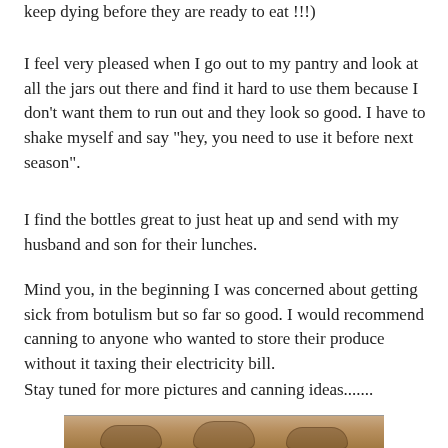keep dying before they are ready to eat !!!)
I feel very pleased when I go out to my pantry and look at all the jars out there and find it hard to use them because I don't want them to run out and they look so good.  I have to shake myself and say “hey, you need to use it before next season”.
I find the bottles great to just heat up and send with my husband and son for their lunches.
Mind you, in the beginning I was concerned about getting sick from botulism but so far so good.  I would recommend canning to anyone who wanted to store their produce without it taxing their electricity bill.
Stay tuned for more pictures and canning ideas.......
[Figure (photo): A sepia-toned photograph showing canning jars, partially visible at the bottom of the page.]